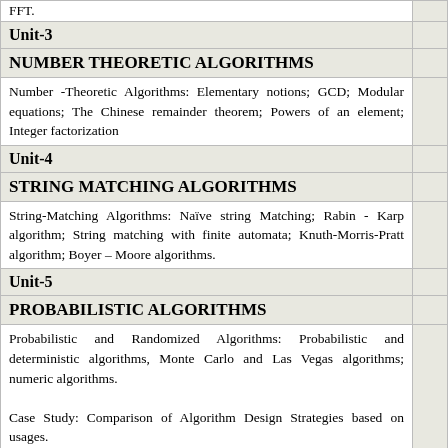FFT.
Unit-3
NUMBER THEORETIC ALGORITHMS
Number -Theoretic Algorithms: Elementary notions; GCD; Modular equations; The Chinese remainder theorem; Powers of an element; Integer factorization
Unit-4
STRING MATCHING ALGORITHMS
String-Matching Algorithms: Naïve string Matching; Rabin - Karp algorithm; String matching with finite automata; Knuth-Morris-Pratt algorithm; Boyer – Moore algorithms.
Unit-5
PROBABILISTIC ALGORITHMS
Probabilistic and Randomized Algorithms: Probabilistic and deterministic algorithms, Monte Carlo and Las Vegas algorithms; numeric algorithms.
Case Study: Comparison of Algorithm Design Strategies based on usages.
Text Books And Reference Books:
1. T. H Cormen, C E Leiserson, R L Rivest and … "Introduction to Algorithms", 3rd Edition, The MIT Press, 2014.
2.